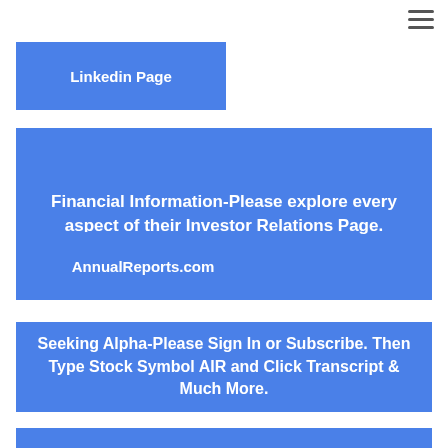Linkedin Page
Financial Information-Please explore every aspect of their Investor Relations Page.
AnnualReports.com
Seeking Alpha-Please Sign In or Subscribe. Then Type Stock Symbol AIR and Click Transcript & Much More.